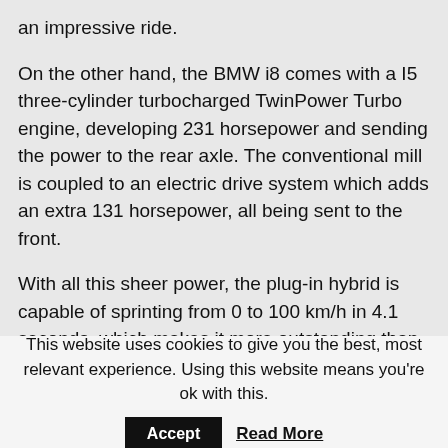an impressive ride.
On the other hand, the BMW i8 comes with a I5 three-cylinder turbocharged TwinPower Turbo engine, developing 231 horsepower and sending the power to the rear axle. The conventional mill is coupled to an electric drive system which adds an extra 131 horsepower, all being sent to the front.
With all this sheer power, the plug-in hybrid is capable of sprinting from 0 to 100 km/h in 4.1 seconds, which makes it more outstanding than the M3 or M4. Now, you get to choose which one
This website uses cookies to give you the best, most relevant experience. Using this website means you're ok with this.
Accept
Read More